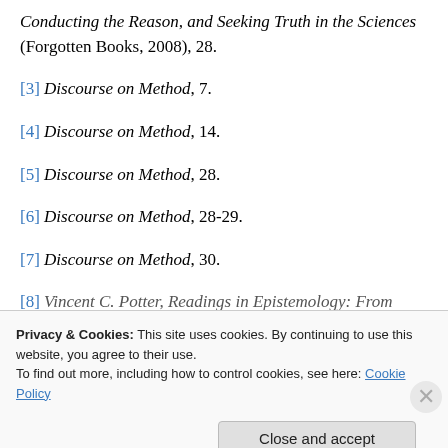Conducting the Reason, and Seeking Truth in the Sciences (Forgotten Books, 2008), 28.
[3] Discourse on Method, 7.
[4] Discourse on Method, 14.
[5] Discourse on Method, 28.
[6] Discourse on Method, 28-29.
[7] Discourse on Method, 30.
[8] Vincent C. Potter, Readings in Epistemology: From...
Privacy & Cookies: This site uses cookies. By continuing to use this website, you agree to their use. To find out more, including how to control cookies, see here: Cookie Policy
Close and accept